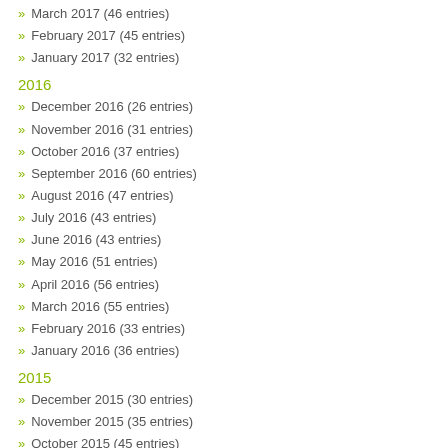March 2017 (46 entries)
February 2017 (45 entries)
January 2017 (32 entries)
2016
December 2016 (26 entries)
November 2016 (31 entries)
October 2016 (37 entries)
September 2016 (60 entries)
August 2016 (47 entries)
July 2016 (43 entries)
June 2016 (43 entries)
May 2016 (51 entries)
April 2016 (56 entries)
March 2016 (55 entries)
February 2016 (33 entries)
January 2016 (36 entries)
2015
December 2015 (30 entries)
November 2015 (35 entries)
October 2015 (45 entries)
September 2015 (49 entries)
August 2015 (18 entries)
July 2015 (38 entries)
June 2015 (13 entries)
May 2015 (11 entries)
April 2015 (24 entries)
March 2015 (32 entries)